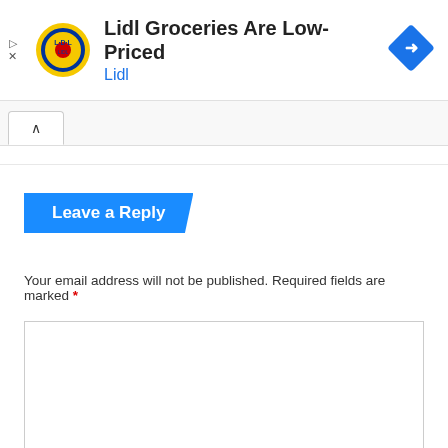[Figure (screenshot): Lidl advertisement banner with Lidl logo (yellow circle with blue L·D·L text and red circle), ad title 'Lidl Groceries Are Low-Priced', brand name 'Lidl' in blue, and a blue navigation diamond icon on the right. Play and close icons on the left.]
[Figure (screenshot): Collapsible tab/accordion button with a chevron-up icon indicating a collapsed section.]
Leave a Reply
Your email address will not be published. Required fields are marked *
[Figure (screenshot): Empty comment text area input field with border.]